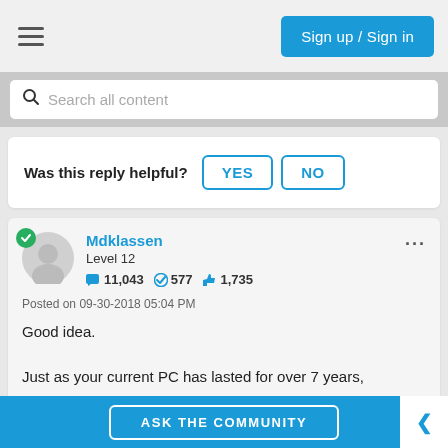Sign up / Sign in
Search all content
Was this reply helpful? YES NO
Mdklassen
Level 12
11,043  577  1,735
Posted on 09-30-2018 05:04 PM
Good idea.

Just as your current PC has lasted for over 7 years,
ASK THE COMMUNITY